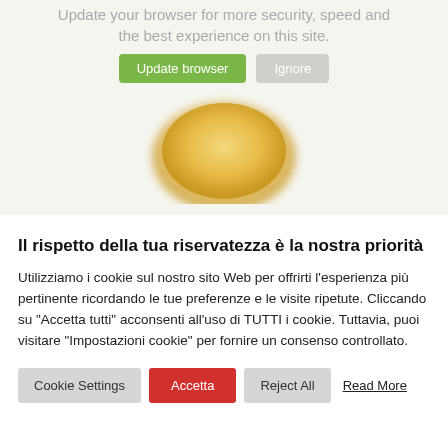[Figure (screenshot): Browser update notification banner with a gold badge/seal graphic, text 'Update your browser for more security, speed and the best experience on this site.' with 'Update browser' (green button) and 'Ignore' (gray button)]
Il rispetto della tua riservatezza è la nostra priorità
Utilizziamo i cookie sul nostro sito Web per offrirti l'esperienza più pertinente ricordando le tue preferenze e le visite ripetute. Cliccando su "Accetta tutti" acconsenti all'uso di TUTTI i cookie. Tuttavia, puoi visitare "Impostazioni cookie" per fornire un consenso controllato.